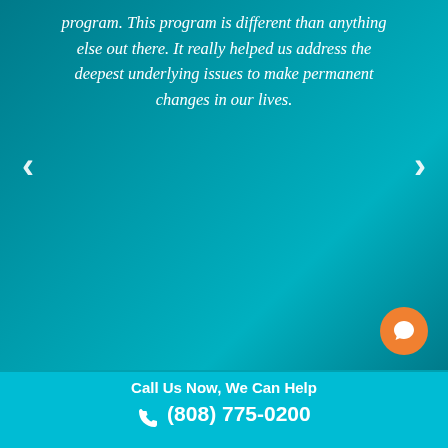program. This program is different than anything else out there. It really helped us address the deepest underlying issues to make permanent changes in our lives.
[Figure (other): Left navigation arrow chevron]
[Figure (other): Right navigation arrow chevron]
[Figure (other): Orange circular chat button with speech bubble icon]
Call Us Now, We Can Help
(808) 775-0200